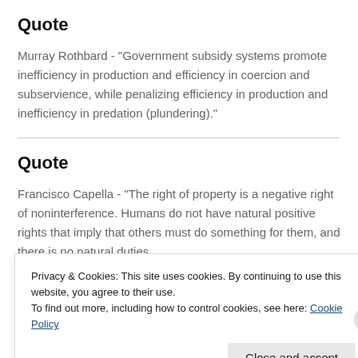Quote
Murray Rothbard - "Government subsidy systems promote inefficiency in production and efficiency in coercion and subservience, while penalizing efficiency in production and inefficiency in predation (plundering)."
Quote
Francisco Capella - "The right of property is a negative right of noninterference. Humans do not have natural positive rights that imply that others must do something for them, and there is no natural duties
Privacy & Cookies: This site uses cookies. By continuing to use this website, you agree to their use.
To find out more, including how to control cookies, see here: Cookie Policy
Close and accept